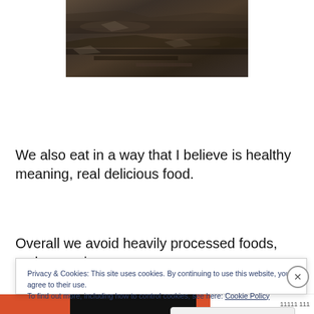[Figure (photo): Photograph of rocky/stone textured surface, dark browns and grays, appears to be rock or food surface, cropped at top]
We also eat in a way that I believe is healthy meaning, real delicious food.
Overall we avoid heavily processed foods, make veggies
Privacy & Cookies: This site uses cookies. By continuing to use this website, you agree to their use.
To find out more, including how to control cookies, see here: Cookie Policy
Close and accept